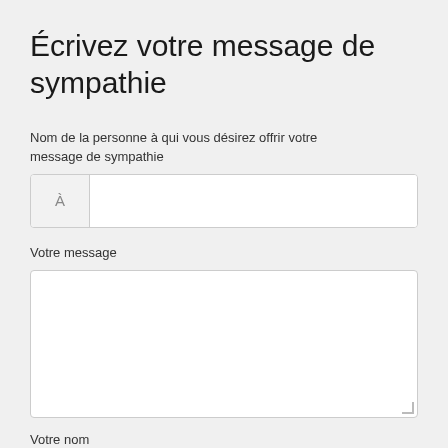Écrivez votre message de sympathie
Nom de la personne à qui vous désirez offrir votre message de sympathie
Votre message
Votre nom